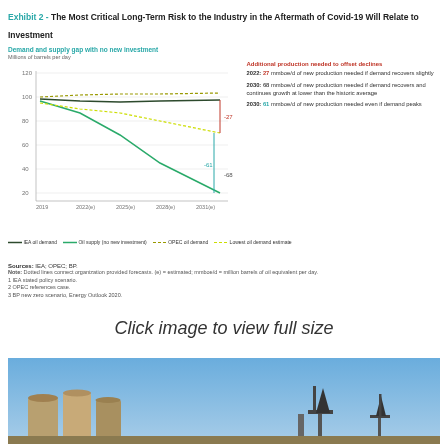Exhibit 2 - The Most Critical Long-Term Risk to the Industry in the Aftermath of Covid-19 Will Relate to Investment
[Figure (line-chart): Line chart showing demand and supply gap with no new investment from 2019 to 2031. IEA oil demand and OPEC oil demand lines remain high (~100 mmboe/d). Oil supply with no new investment declines to ~35 mmboe/d by 2031. Gap annotations: -27 at 2031 for demand scenario, -61 and -68 labeled.]
Additional production needed to offset declines
2022: 27 mmboe/d of new production needed if demand recovers slightly
2030: 68 mmboe/d of new production needed if demand recovers and continues growth at lower than the historic average
2030: 61 mmboe/d of new production needed even if demand peaks
Sources: IEA; OPEC; BP.
Note: Dotted lines connect organization provided forecasts. (e) = estimated; mmboe/d = million barrels of oil equivalent per day.
1 IEA stated policy scenario.
2 OPEC references case.
3 BP new zero scenario, Energy Outlook 2020.
Click image to view full size
[Figure (photo): Oil field photograph showing industrial storage tanks and pump jacks against a blue sky.]